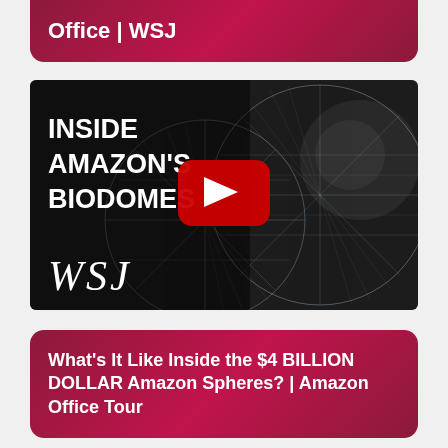Office | WSJ
[Figure (screenshot): YouTube video thumbnail showing Amazon's Biodomes - three large interconnected glass geodesic spheres with a lattice structure, with white text 'INSIDE AMAZON'S BIODOMES' on the left, WSJ logo at bottom left, and a red YouTube play button in the center]
What's It Like Inside the $4 BILLION DOLLAR Amazon Spheres? | Amazon Office Tour